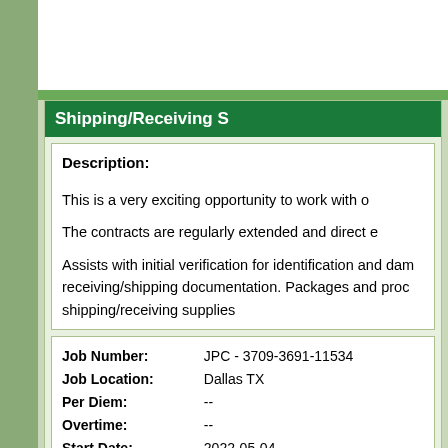Submit My Resume
Shipping/Receiving S
Description:

This is a very exciting opportunity to work with o

The contracts are regularly extended and direct e

Assists with initial verification for identification and dam receiving/shipping documentation. Packages and proc shipping/receiving supplies
| Job Number: | JPC - 3709-3691-11534 |
| Job Location: | Dallas TX |
| Per Diem: | -- |
| Overtime: | -- |
| Start Date: | 2022-05-04 |
| Input Date: | 04/28/2022 |
| Last Updated: | 08/21/2022 |
Submit My Resume